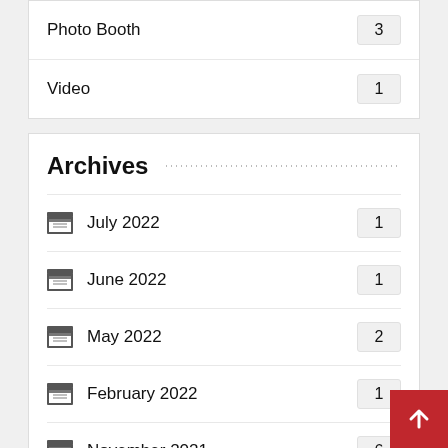Photo Booth — 3
Video — 1
Archives
July 2022 — 1
June 2022 — 1
May 2022 — 2
February 2022 — 1
November 2021 — 6
September 2021 — 1
August 2021 — 2
July 2021 — 1
May 2021 — 1